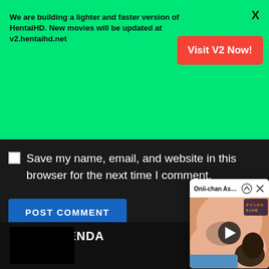We are building a lighter and faster version of HentaiHD. New movies will be updated at v2.hentaihd.net
Visit V2 Now!
X
Save my name, email, and website in this browser for the next time I comment.
POST COMMENT
Onii-chan Asa made Zutto ...
[Figure (screenshot): Anime video thumbnail showing animated characters]
RECOMMENDA